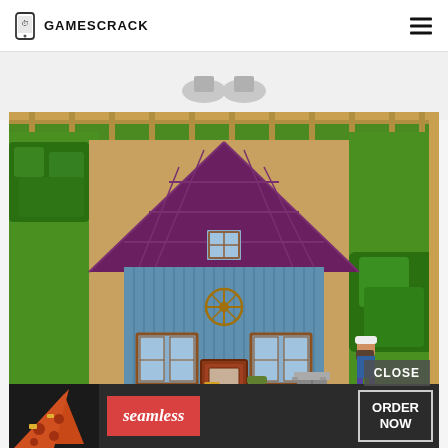GAMESCRACK
[Figure (screenshot): Stardew Valley game screenshot showing a farmhouse with purple roof, blue walls, two characters near the house, a tree, and a trash can. The scene shows a top-down 2D pixel art farm environment with green bushes and grass surrounding a dirt path area.]
[Figure (advertisement): Seamless food delivery advertisement banner with pizza image on left, red Seamless logo in center, and ORDER NOW button on right with CLOSE button overlay above.]